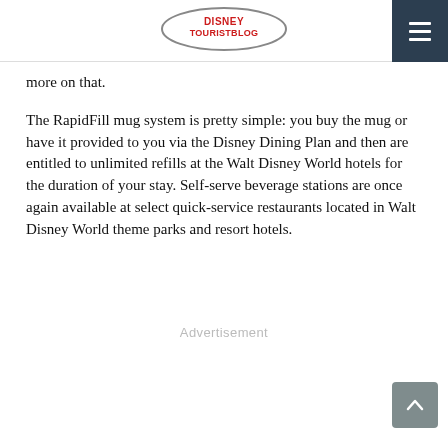DISNEYTOURISTBLOG
more on that.
The RapidFill mug system is pretty simple: you buy the mug or have it provided to you via the Disney Dining Plan and then are entitled to unlimited refills at the Walt Disney World hotels for the duration of your stay. Self-serve beverage stations are once again available at select quick-service restaurants located in Walt Disney World theme parks and resort hotels.
Advertisement